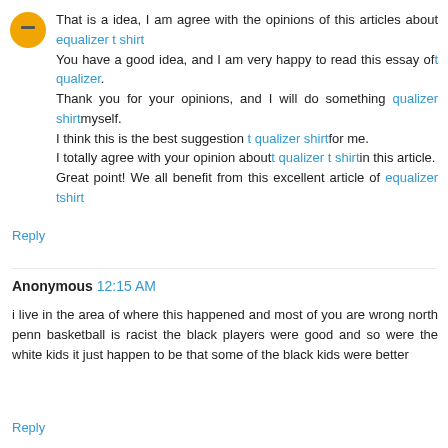That is a idea, I am agree with the opinions of this articles about equalizer t shirt You have a good idea, and I am very happy to read this essay oft qualizer. Thank you for your opinions, and I will do something qualizer shirtmyself. I think this is the best suggestion t qualizer shirtfor me. I totally agree with your opinion aboutt qualizer t shirtin this article. Great point! We all benefit from this excellent article of equalizer tshirt
Reply
Anonymous 12:15 AM
i live in the area of where this happened and most of you are wrong north penn basketball is racist the black players were good and so were the white kids it just happen to be that some of the black kids were better
Reply